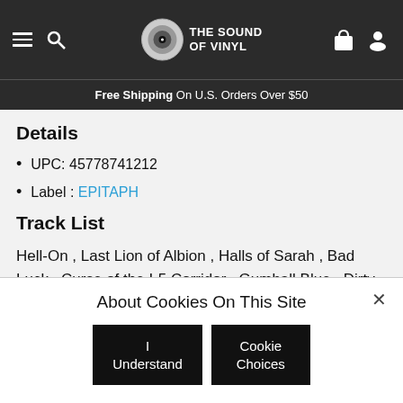THE SOUND OF VINYL — Free Shipping On U.S. Orders Over $50
Details
UPC: 45778741212
Label : EPITAPH
Track List
Hell-On , Last Lion of Albion , Halls of Sarah , Bad Luck , Curse of the I-5 Corridor , Gumball Blue , Dirty Diamond , Oracle of the Maritimes , Winnie , Sleep All Summer 1 My Uncle's Navy 1, Pitch or Honey
About Cookies On This Site
I Understand | Cookie Choices